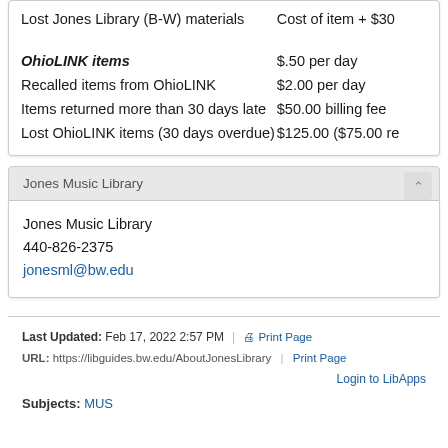| Item | Fee |
| --- | --- |
| Lost Jones Library (B-W) materials | Cost of item + $30 |
| OhioLINK items | $.50 per day |
| Recalled items from OhioLINK | $2.00 per day |
| Items returned more than 30 days late | $50.00 billing fee |
| Lost OhioLINK items (30 days overdue) | $125.00 ($75.00 re... |
Jones Music Library
Jones Music Library
440-826-2375
jonesml@bw.edu
Last Updated: Feb 17, 2022 2:57 PM | URL: https://libguides.bw.edu/AboutJonesLibrary | Print Page | Login to LibApps | Subjects: MUS